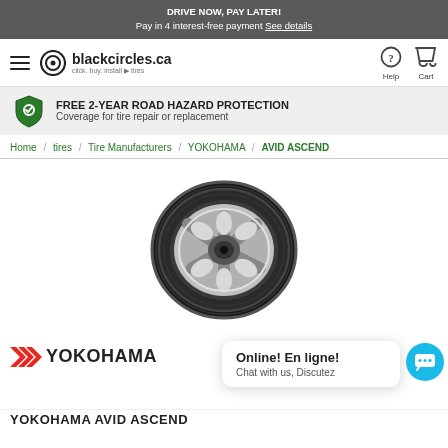DRIVE NOW, PAY LATER! Pay in 4 interest-free payment See details
[Figure (logo): blackcircles.ca logo with hamburger menu, help and cart icons]
FREE 2-YEAR ROAD HAZARD PROTECTION
Coverage for tire repair or replacement
Home / tires / Tire Manufacturers / YOKOHAMA / AVID ASCEND
[Figure (photo): Yokohama tire product photo - AVID ASCEND tire with silver rim, side view]
[Figure (logo): Yokohama brand logo with red chevron arrows]
Online! En ligne!
Chat with us, Discutez
YOKOHAMA AVID ASCEND